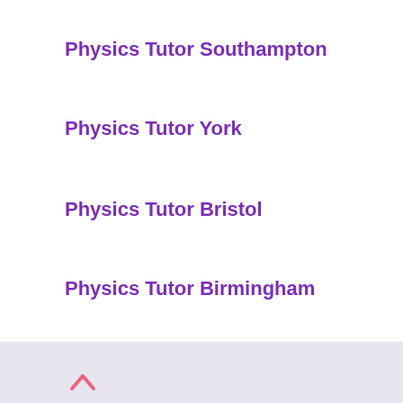Physics Tutor Southampton
Physics Tutor York
Physics Tutor Bristol
Physics Tutor Birmingham
Physics Tutor Sheffield